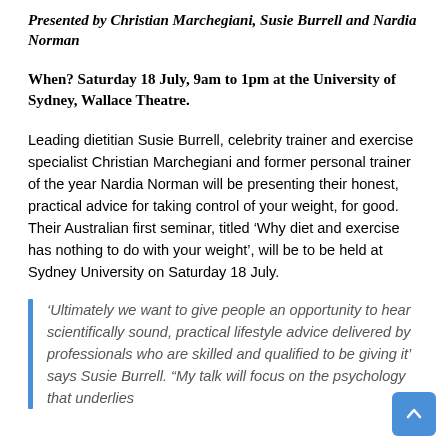Presented by Christian Marchegiani, Susie Burrell and Nardia Norman
When? Saturday 18 July, 9am to 1pm at the University of Sydney, Wallace Theatre.
Leading dietitian Susie Burrell, celebrity trainer and exercise specialist Christian Marchegiani and former personal trainer of the year Nardia Norman will be presenting their honest, practical advice for taking control of your weight, for good. Their Australian first seminar, titled ‘Why diet and exercise has nothing to do with your weight’, will be to be held at Sydney University on Saturday 18 July.
‘Ultimately we want to give people an opportunity to hear scientifically sound, practical lifestyle advice delivered by professionals who are skilled and qualified to be giving it’ says Susie Burrell. “My talk will focus on the psychology that underlies